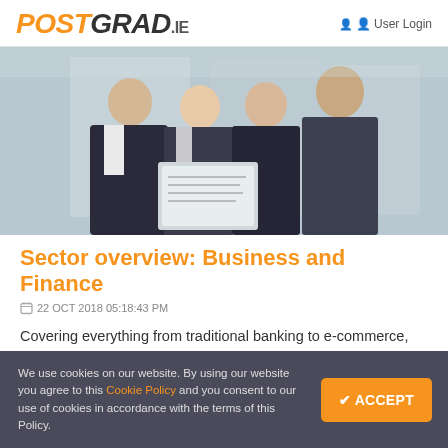POSTGRAD.ie — User Login
[Figure (photo): Four business professionals in formal attire reviewing a document together, light blue-grey office background]
Sector overview: Business and Finance
22 OCT 2018 05:18:43 PM
Covering everything from traditional banking to e-commerce, tax, audit, consultancy and with inputs into literally every industry, the areas of business and finance remain one of the largest job opportunity sectors and one of Ireland's biggest areas of employment. Business and Finance Over the last four to five years there have been
We use cookies on our website. By using our website you agree to this Cookie Policy and you consent to our use of cookies in accordance with the terms of this Policy.